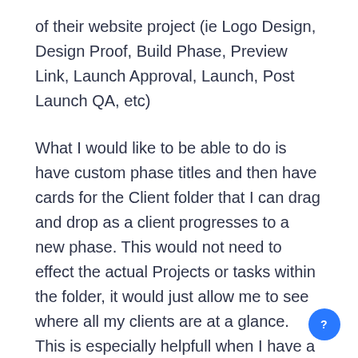of their website project (ie Logo Design, Design Proof, Build Phase, Preview Link, Launch Approval, Launch, Post Launch QA, etc)
What I would like to be able to do is have custom phase titles and then have cards for the Client folder that I can drag and drop as a client progresses to a new phase. This would not need to effect the actual Projects or tasks within the folder, it would just allow me to see where all my clients are at a glance. This is especially helpfull when I have a lot of clients in one category as it